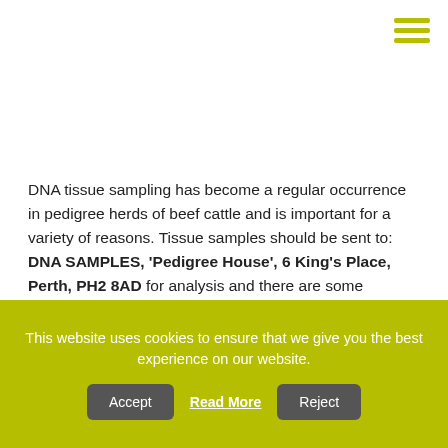[Figure (other): Hamburger menu icon with three olive/yellow-green horizontal lines in top-right corner]
DNA tissue sampling has become a regular occurrence in pedigree herds of beef cattle and is important for a variety of reasons. Tissue samples should be sent to: DNA SAMPLES, 'Pedigree House', 6 King's Place, Perth, PH2 8AD for analysis and there are some samples that fail the analysis process. There are several reasons for failure which can broadly be grouped into two categories – sample integrity and verification failure. Failure of each kind would also other the corrective...
This website uses cookies to ensure that we give you the best experience on our website.